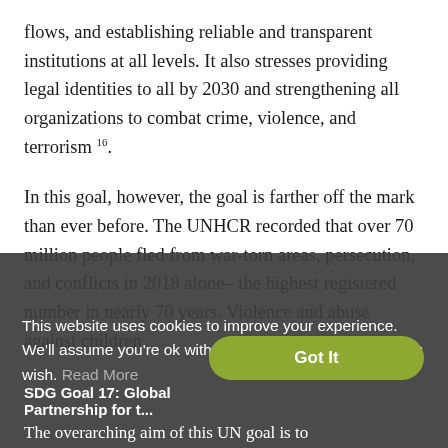flows, and establishing reliable and transparent institutions at all levels. It also stresses providing legal identities to all by 2030 and strengthening all organizations to combat crime, violence, and terrorism 16.
In this goal, however, the goal is farther off the mark than ever before. The UNHCR recorded that over 70 million people fled from war-torn areas, persecution, and conflicts in 2018 alone– the highest registered number in nearly 70 years. Violence and abuse against children
This website uses cookies to improve your experience. We'll assume you're ok with this, but you can opt-out if you wish. Read More
SDG Goal 17: Global Partnership for t...
The overarching aim of this UN goal is to rejuvenate global partnerships and strengthen